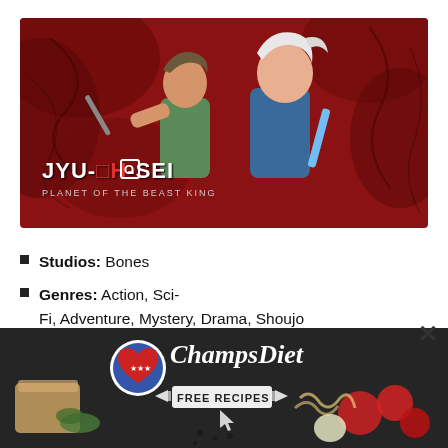[Figure (illustration): Anime promotional image for Jyu-Oh-Sei (Planet of the Beast King) showing two male anime characters in action poses against a dark red background. One character holds a sword. The title 'JYU-OH-SEI' and subtitle 'PLANET OF THE BEAST KING' appear in the lower left of the image.]
Studios: Bones
Genres: Action, Sci-Fi, Adventure, Mystery, Drama, Shoujo
[Figure (illustration): Advertisement banner for ChampsDiet showing food items (bread, tomatoes, pasta, herbs) on a dark background with a circular American flag heart logo and text 'ChampsDiet' in cursive, with a button reading 'FREE RECIPES' and an arrow cursor icon.]